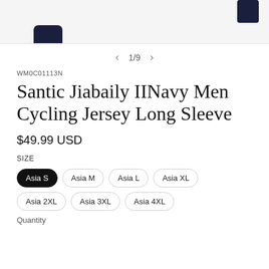[Figure (photo): Partial product photo showing navy cycling jersey, cropped at top of page]
1/9
WM0C01113N
Santic Jiabaily IINavy Men Cycling Jersey Long Sleeve
$49.99 USD
SIZE
Asia S
Asia M
Asia L
Asia XL
Asia 2XL
Asia 3XL
Asia 4XL
Quantity